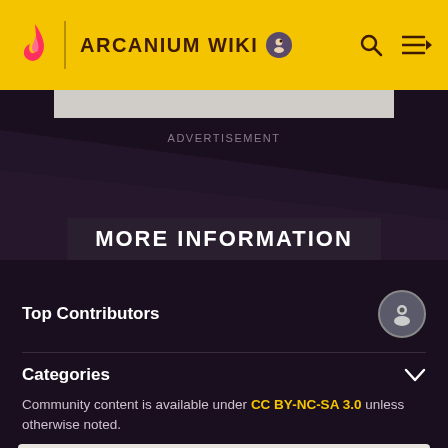ARCANIUM WIKI
ADVERTISEMENT
MORE INFORMATION
Top Contributors
Categories
Community content is available under CC BY-NC-SA 3.0 unless otherwise noted.
MORE ARCANIUM WIKI